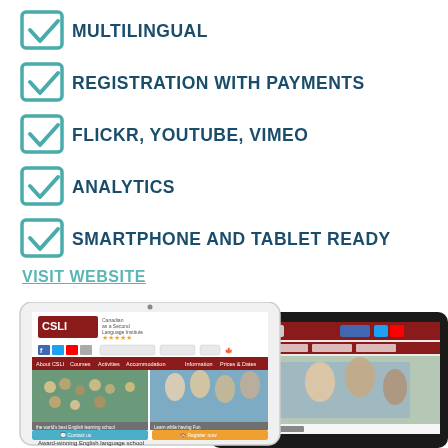MULTILINGUAL
REGISTRATION WITH PAYMENTS
FLICKR, YOUTUBE, VIMEO
ANALYTICS
SMARTPHONE AND TABLET READY
VISIT WEBSITE
[Figure (screenshot): Screenshot of CSLI (Canadian as a Second Language Institute) website shown on a tablet and a larger tablet/iPad device. The website shows the school's homepage with navigation bar, social media icons, photos of students, and text 'Award-winning English language school'.]